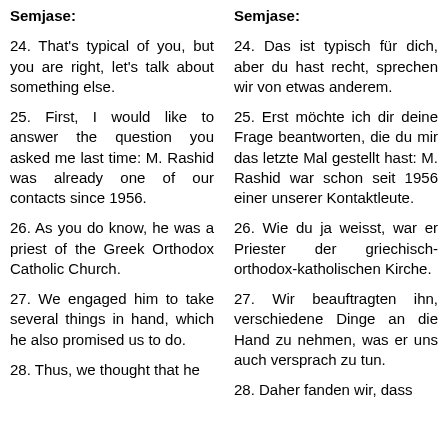Semjase:
Semjase:
24. That's typical of you, but you are right, let's talk about something else.
24. Das ist typisch für dich, aber du hast recht, sprechen wir von etwas anderem.
25. First, I would like to answer the question you asked me last time: M. Rashid was already one of our contacts since 1956.
25. Erst möchte ich dir deine Frage beantworten, die du mir das letzte Mal gestellt hast: M. Rashid war schon seit 1956 einer unserer Kontaktleute.
26. As you do know, he was a priest of the Greek Orthodox Catholic Church.
26. Wie du ja weisst, war er Priester der griechisch-orthodox-katholischen Kirche.
27. We engaged him to take several things in hand, which he also promised us to do.
27. Wir beauftragten ihn, verschiedene Dinge an die Hand zu nehmen, was er uns auch versprach zu tun.
28. Thus, we thought that he
28. Daher fanden wir, dass